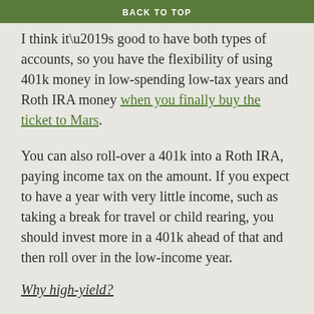BACK TO TOP
I think it’s good to have both types of accounts, so you have the flexibility of using 401k money in low-spending low-tax years and Roth IRA money when you finally buy the ticket to Mars.
You can also roll-over a 401k into a Roth IRA, paying income tax on the amount. If you expect to have a year with very little income, such as taking a break for travel or child rearing, you should invest more in a 401k ahead of that and then roll over in the low-income year.
Why high-yield?
I don’t plan on using this money for the next 30 years, so I hold it in the highest-yield / highest-risk portfolio available to me: 90% stocks, a third of which are in emerging markets which are riskier and more lucrative. The longtime horizon lets the high yields compound, while the high risks smooth out over time in accordance